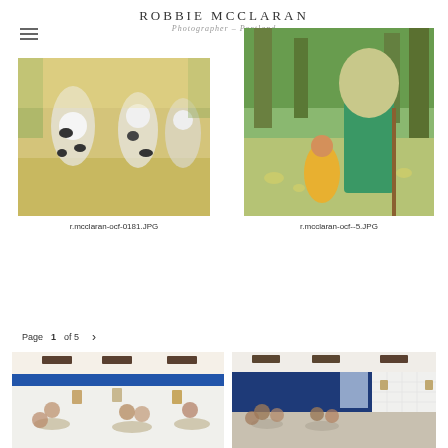ROBBIE MCCLARAN
Photographer – Portland
[Figure (photo): Outdoor festival scene with people dressed in cow costumes walking in a crowd on a sunny day]
r.mcclaran-ocf-0181.JPG
[Figure (photo): Outdoor festival scene with a young girl in orange flower dress and a tall figure in green robe with large white beard and staff]
r.mcclaran-ocf--5.JPG
Page 1 of 5
[Figure (photo): Interior of a restaurant with blue and white decor, patrons seated at tables, modern lighting fixtures on ceiling]
[Figure (photo): Interior of a restaurant with blue walls, white tile, patrons seated at tables with warm lighting]